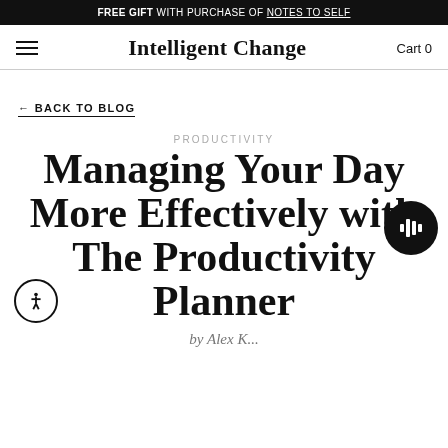FREE GIFT WITH PURCHASE OF NOTES TO SELF
Intelligent Change — Cart 0
← BACK TO BLOG
PRODUCTIVITY
Managing Your Day More Effectively with The Productivity Planner
by Alex K...